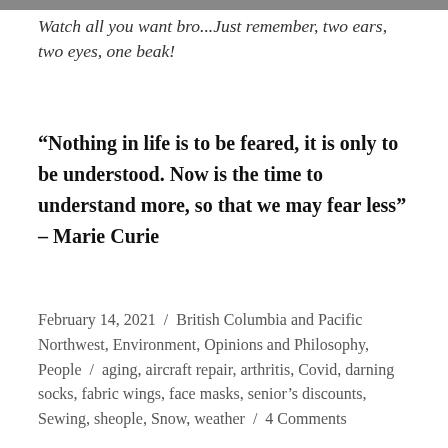[Figure (photo): Partial image strip at the top of the page, showing a cropped photo]
Watch all you want bro...Just remember, two ears, two eyes, one beak!
“Nothing in life is to be feared, it is only to be understood. Now is the time to understand more, so that we may fear less” – Marie Curie
February 14, 2021  /  British Columbia and Pacific Northwest, Environment, Opinions and Philosophy, People  /  aging, aircraft repair, arthritis, Covid, darning socks, fabric wings, face masks, senior’s discounts, Sewing, sheople, Snow, weather  /  4 Comments